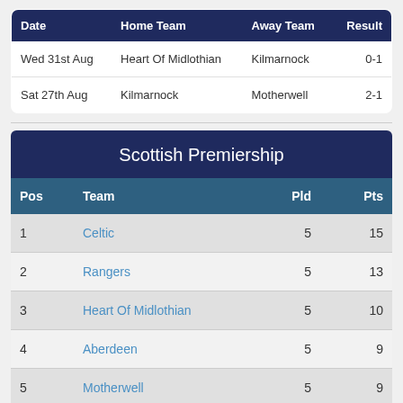| Date | Home Team | Away Team | Result |
| --- | --- | --- | --- |
| Wed 31st Aug | Heart Of Midlothian | Kilmarnock | 0-1 |
| Sat 27th Aug | Kilmarnock | Motherwell | 2-1 |
| Pos | Team | Pld | Pts |
| --- | --- | --- | --- |
| 1 | Celtic | 5 | 15 |
| 2 | Rangers | 5 | 13 |
| 3 | Heart Of Midlothian | 5 | 10 |
| 4 | Aberdeen | 5 | 9 |
| 5 | Motherwell | 5 | 9 |